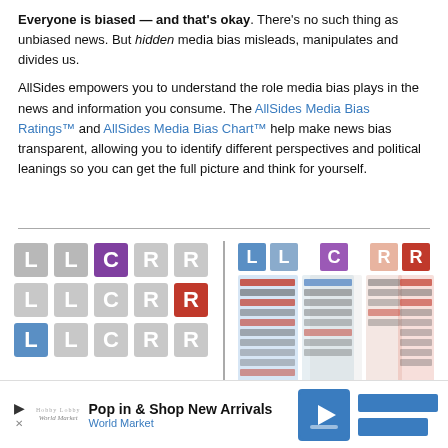Everyone is biased — and that's okay. There's no such thing as unbiased news. But hidden media bias misleads, manipulates and divides us.
AllSides empowers you to understand the role media bias plays in the news and information you consume. The AllSides Media Bias Ratings™ and AllSides Media Bias Chart™ help make news bias transparent, allowing you to identify different perspectives and political leanings so you can get the full picture and think for yourself.
[Figure (illustration): Media Bias Ratings grid showing L, L, C, R, R labels in colored squares, with one purple C and one red R highlighted]
Media Bias Ratings
[Figure (illustration): Media Bias Chart showing multiple news outlet logos arranged by political bias from left to right]
Media Bias Chart
[Figure (infographic): Advertisement bar: Pop in & Shop New Arrivals, World Market]